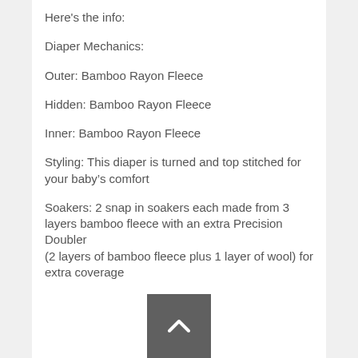Here's the info:
Diaper Mechanics:
Outer: Bamboo Rayon Fleece
Hidden: Bamboo Rayon Fleece
Inner: Bamboo Rayon Fleece
Styling: This diaper is turned and top stitched for your baby's comfort
Soakers: 2 snap in soakers each made from 3 layers bamboo fleece with an extra Precision Doubler (2 layers of bamboo fleece plus 1 layer of wool) for extra coverage